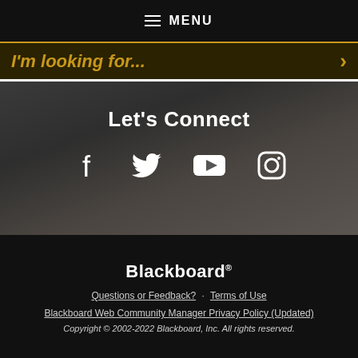MENU
I'm looking for...
Let's Connect
[Figure (other): Social media icons: Facebook, Twitter, YouTube, Instagram]
Blackboard
Questions or Feedback? · Terms of Use
Blackboard Web Community Manager Privacy Policy (Updated)
Copyright © 2002-2022 Blackboard, Inc. All rights reserved.